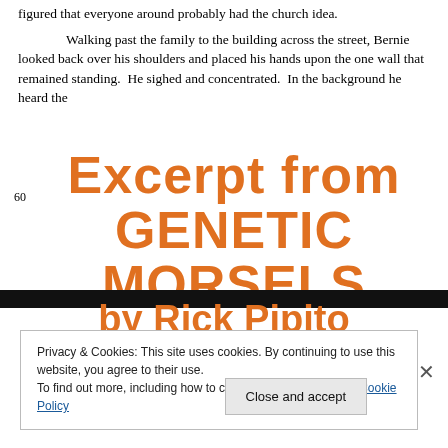figured that everyone around probably had the church idea.
Walking past the family to the building across the street, Bernie looked back over his shoulders and placed his hands upon the one wall that remained standing.  He sighed and concentrated.  In the background he heard the
Excerpt from GENETIC MORSELS by Rick Pipito
Privacy & Cookies: This site uses cookies. By continuing to use this website, you agree to their use.
To find out more, including how to control cookies, see here: Cookie Policy
Close and accept